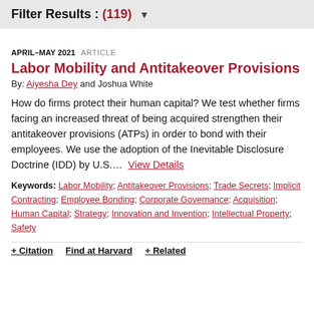Filter Results : (119) ▼
APRIL–MAY 2021   ARTICLE
Labor Mobility and Antitakeover Provisions
By: Aiyesha Dey and Joshua White
How do firms protect their human capital? We test whether firms facing an increased threat of being acquired strengthen their antitakeover provisions (ATPs) in order to bond with their employees. We use the adoption of the Inevitable Disclosure Doctrine (IDD) by U.S....  View Details
Keywords: Labor Mobility; Antitakeover Provisions; Trade Secrets; Implicit Contracting; Employee Bonding; Corporate Governance; Acquisition; Human Capital; Strategy; Innovation and Invention; Intellectual Property; Safety
+ Citation   Find at Harvard   + Related